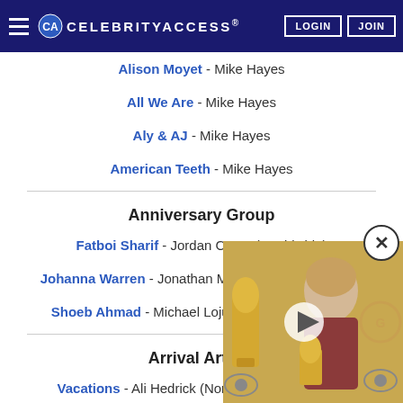CELEBRITYACCESS | LOGIN | JOIN
Alison Moyet - Mike Hayes
All We Are - Mike Hayes
Aly & AJ - Mike Hayes
American Teeth - Mike Hayes
Anniversary Group
Fatboi Sharif - Jordan Corso (Worldwide)
Johanna Warren - Jonathan Mattson (North America)
Shoeb Ahmad - Michael Lojudice (North America)
Arrival Artists
Vacations - Ali Hedrick (North & South America)
Crossover
AJ Lee & Blue Summit - Cha...
Big Richard - Chandler H...
Charlotte Cornfield - ...
[Figure (photo): Video overlay showing a woman (Taylor Swift) holding Grammy awards at an awards ceremony, with a play button and close (X) button overlay]